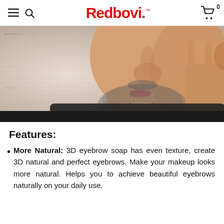Redbovi. [with hamburger menu, search icon, and cart icon with 0]
[Figure (photo): Close-up photo of a man with beard and stubble, face partially cropped, touching his face with his hand, wearing a black shirt, against a light dotted background]
Features:
More Natural: 3D eyebrow soap has even texture, create 3D natural and perfect eyebrows. Make your makeup looks more natural. Helps you to achieve beautiful eyebrows naturally on your daily use.